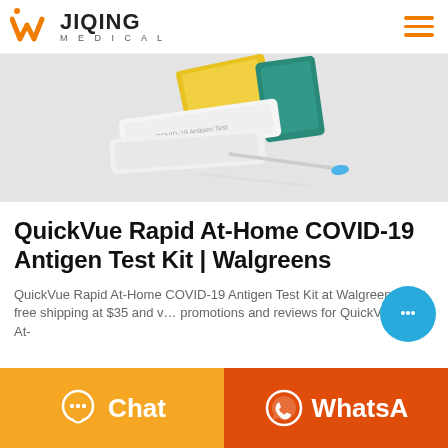JIQING MEDICAL
[Figure (photo): COVID-19 rapid antigen test kit components including test strips, swabs, and packaging on a light gray background]
QuickVue Rapid At-Home COVID-19 Antigen Test Kit | Walgreens
QuickVue Rapid At-Home COVID-19 Antigen Test Kit at Walgreens. Get free shipping at $35 and view promotions and reviews for QuickVue Rapid At-
[Figure (other): Floating blue chat bubble button with ellipsis icon]
[Figure (other): Bottom navigation bar with orange Chat button and dark orange WhatsApp button]